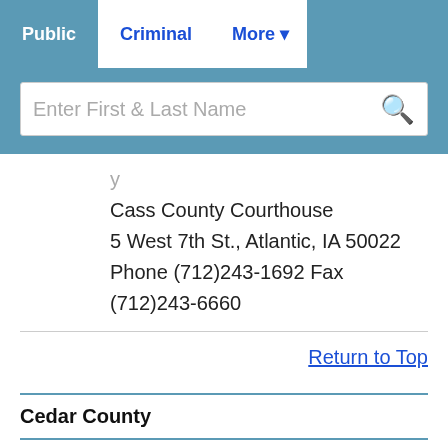Public | Criminal | More
[Figure (screenshot): Search bar with placeholder text 'Enter First & Last Name' and a search icon]
Cass County Courthouse
5 West 7th St., Atlantic, IA 50022
Phone (712)243-1692 Fax (712)243-6660
Return to Top
Cedar County
ADVERTISEMENT